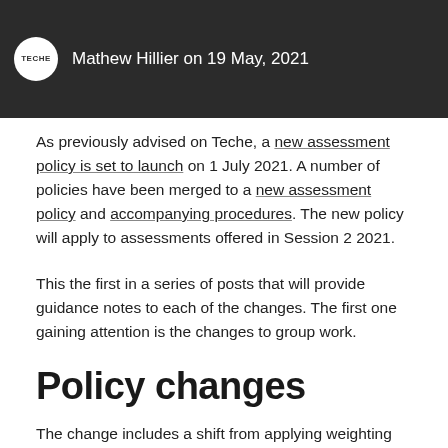Mathew Hillier on 19 May, 2021
As previously advised on Teche, a new assessment policy is set to launch on 1 July 2021. A number of policies have been merged to a new assessment policy and accompanying procedures. The new policy will apply to assessments offered in Session 2 2021.
This the first in a series of posts that will provide guidance notes to each of the changes. The first one gaining attention is the changes to group work.
Policy changes
The change includes a shift from applying weighting limits on group marking from the task level to the unit level.